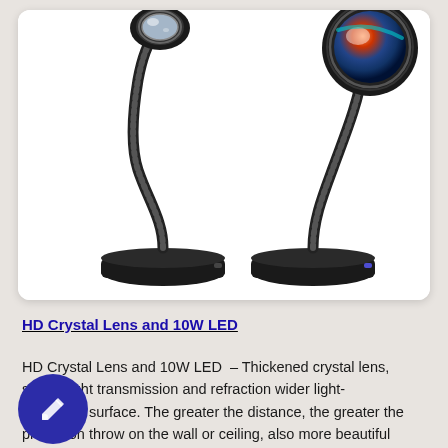[Figure (photo): Two black gooseneck desk lamps with circular lens/magnifier heads on round bases. Left lamp has a smaller lens head viewed from front; right lamp has a larger lens head with colorful reflections, viewed at an angle. Both have flexible black gooseneck arms and black circular bases.]
HD Crystal Lens and 10W LED
HD Crystal Lens and 10W LED  – Thickened crystal lens, strong light transmission and refraction wider light-emitting surface. The greater the distance, the greater the projection throw on the wall or ceiling, also more beautiful